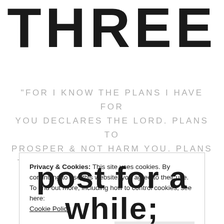THREE
"FOR I KNOW THE PLANS I HAVE FOR YOU DECLARES THE LORD. PLANS TO PROSPER & NOT HARM YOU. PLANS TO GIVE YOU HOPE & A FUTURE." JEREMIAH 29:11
Privacy & Cookies: This site uses cookies. By continuing to use this website, you agree to their use. To find out more, including how to control cookies, see here: Cookie Policy
Close and accept
post for a while;